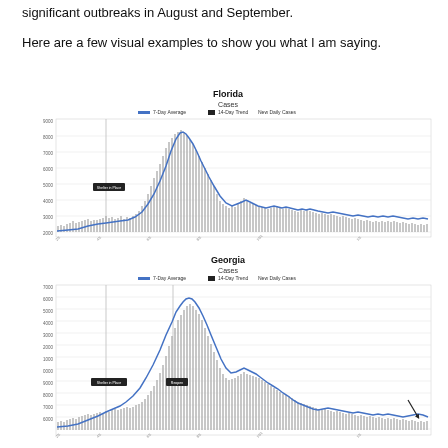significant outbreaks in August and September.
Here are a few visual examples to show you what I am saying.
[Figure (continuous-plot): Line chart of Florida COVID-19 daily new cases with 7-day average (blue line) and daily bars (grey), showing a large summer 2020 peak and a smaller fall peak. A 'Shelter in Place' annotation is marked early in the timeline.]
[Figure (continuous-plot): Line chart of Georgia COVID-19 daily new cases with 7-day average (blue line) and daily bars (grey), showing a summer 2020 peak and rise into fall. 'Shelter in Place' and 'Reopen' annotations are marked. An arrow points down at the end of the trend.]